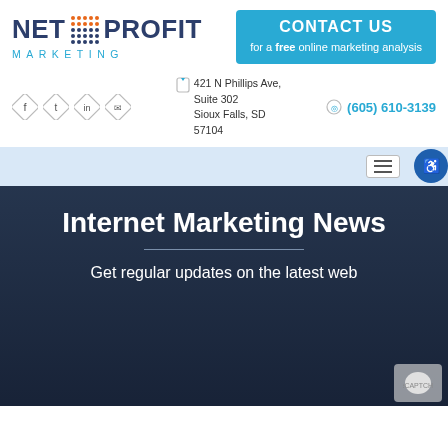[Figure (logo): Net Profit Marketing logo with dot-grid graphic between NET and PROFIT words, MARKETING in teal spaced letters below]
CONTACT US
for a free online marketing analysis
421 N Phillips Ave, Suite 302 Sioux Falls, SD 57104
(605) 610-3139
Internet Marketing News
Get regular updates on the latest web